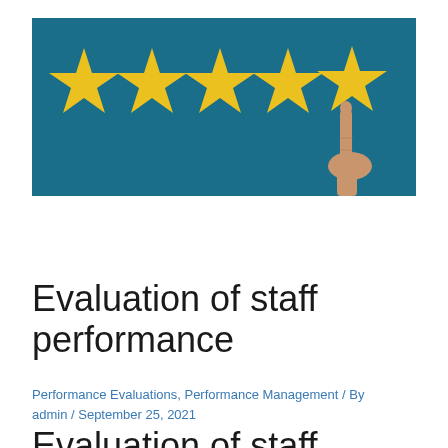[Figure (photo): A photo showing five yellow stars on a teal/blue background with a human hand pointing at or touching the fifth star from the right, representing a 5-star rating concept.]
Evaluation of staff performance
Performance Evaluations, Performance Management / By admin / September 25, 2021
Evaluation of staff